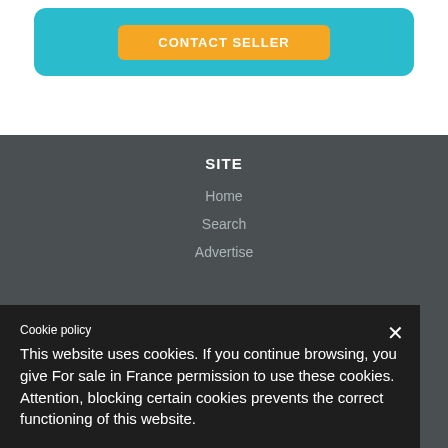[Figure (screenshot): Teal card with CONTACT SELLER button in orange/yellow]
SITE
Home
Search
Advertise
Themes
Regions
MY ACCOUNT
Login
Cookie policy
This website uses cookies. If you continue browsing, you give For sale in France permission to use these cookies. Attention, blocking certain cookies prevents the correct functioning of this website.